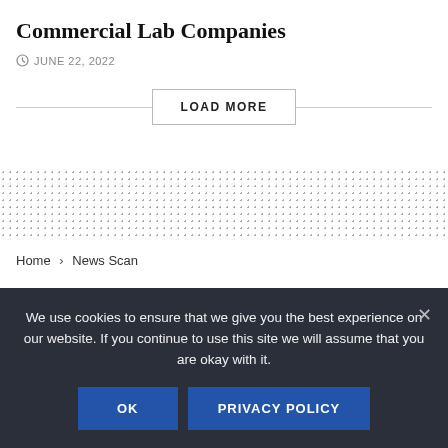Commercial Lab Companies
JUNE 22, 2022
LOAD MORE
[Figure (other): Dotted/stipple pattern decorative band]
Home › News Scan
Biodefense Headlines
We use cookies to ensure that we give you the best experience on our website. If you continue to use this site we will assume that you are okay with it.
OK
PRIVACY POLICY